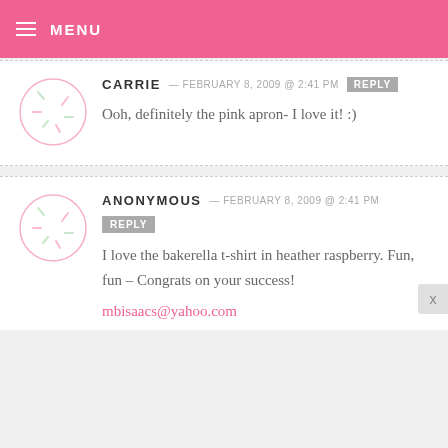MENU
CARRIE — FEBRUARY 8, 2009 @ 2:41 PM
Ooh, definitely the pink apron- I love it! :)
ANONYMOUS — FEBRUARY 8, 2009 @ 2:41 PM
I love the bakerella t-shirt in heather raspberry. Fun, fun – Congrats on your success!
mbisaacs@yahoo.com